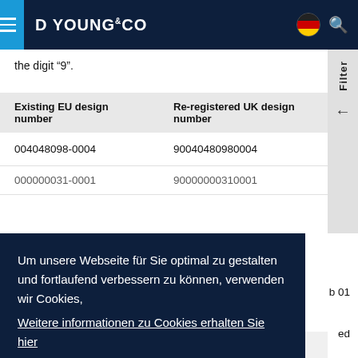D YOUNG & CO
the digit "9".
| Existing EU design number | Re-registered UK design number |
| --- | --- |
| 004048098-0004 | 90040480980004 |
| 000000031-0001 | 90000000310001 |
Um unsere Webseite für Sie optimal zu gestalten und fortlaufend verbessern zu können, verwenden wir Cookies, Weitere informationen zu Cookies erhalten Sie hier
OK
| Existing International design | Re-registered UK design |
| --- | --- |